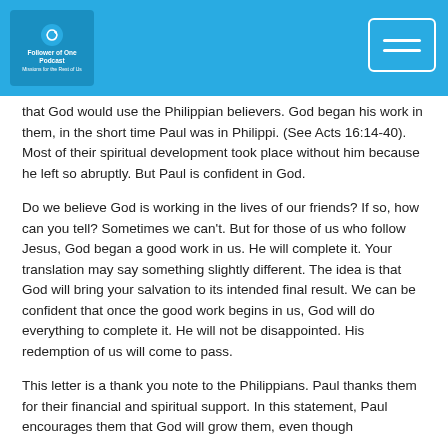[Figure (logo): Follower of One logo in header bar with circular arrow icon and site name text]
that God would use the Philippian believers. God began his work in them, in the short time Paul was in Philippi. (See Acts 16:14-40). Most of their spiritual development took place without him because he left so abruptly. But Paul is confident in God.
Do we believe God is working in the lives of our friends? If so, how can you tell? Sometimes we can't. But for those of us who follow Jesus, God began a good work in us. He will complete it. Your translation may say something slightly different. The idea is that God will bring your salvation to its intended final result. We can be confident that once the good work begins in us, God will do everything to complete it. He will not be disappointed. His redemption of us will come to pass.
This letter is a thank you note to the Philippians. Paul thanks them for their financial and spiritual support. In this statement, Paul encourages them that God will grow them, even though